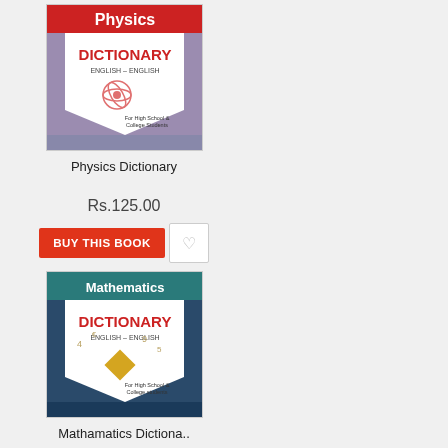[Figure (photo): Physics Dictionary book cover - red and white design with ENGLISH-ENGLISH subtitle, For High School & College Students]
Physics Dictionary
Rs.125.00
[Figure (photo): Mathematics Dictionary book cover - dark blue design with ENGLISH-ENGLISH subtitle, For High School & College students]
Mathamatics Dictiona..
Rs.125.00
[Figure (photo): Navaratna Computer Keyboard Shortcuts book cover - red/white with circular colorful keyboard illustration]
[Figure (photo): Navaratna Computer Dictionary ENGLISH-ENGLISH book cover - orange/brown with globe illustration]